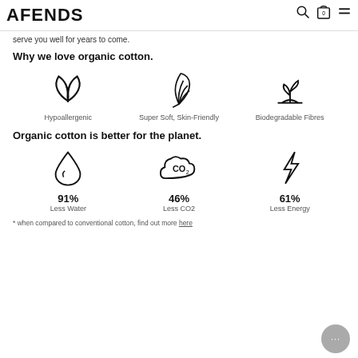AFENDS
serve you well for years to come.
Why we love organic cotton.
[Figure (infographic): Three icons: a leaf/plant icon labeled Hypoallergenic, a feather icon labeled Super Soft, Skin-Friendly, and a seedling/plant icon labeled Biodegradable Fibres]
Organic cotton is better for the planet.
[Figure (infographic): Three icons with statistics: water drop icon with 91% Less Water, CO2 cloud icon with 46% Less CO2, lightning bolt icon with 61% Less Energy]
* when compared to conventional cotton, find out more here